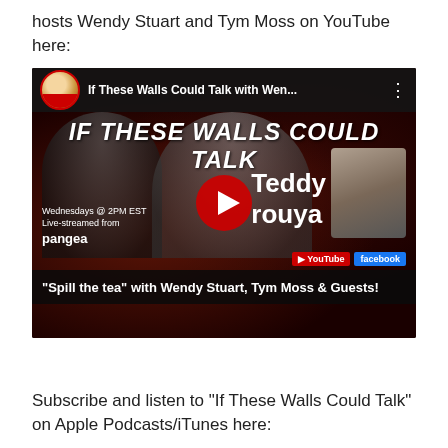hosts Wendy Stuart and Tym Moss on YouTube here:
[Figure (screenshot): YouTube video thumbnail for 'If These Walls Could Talk with Wen...' showing hosts and guest Teddy rouya, with play button overlay, social media icons, and text 'Spill the tea with Wendy Stuart, Tym Moss & Guests!']
Subscribe and listen to “If These Walls Could Talk” on Apple Podcasts/iTunes here: